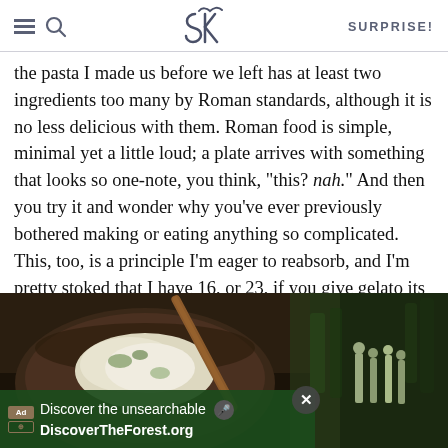SK | SURPRISE!
the pasta I made us before we left has at least two ingredients too many by Roman standards, although it is no less delicious with them. Roman food is simple, minimal yet a little loud; a plate arrives with something that looks so one-note, you think, “this? nah.” And then you try it and wonder why you’ve ever previously bothered making or eating anything so complicated. This, too, is a principle I’m eager to reabsorb, and I’m pretty stoked that I have 16, or 23, if you give gelato its respect due, meals left to still do this.
[Figure (photo): A dark bowl of food (appears to be a rice or grain dish with vegetables) with wooden chopsticks resting across it, photographed from above on a dark background. An advertisement overlay at the bottom reads 'Discover the unsearchable / DiscoverTheForest.org' with forest imagery on the right side.]